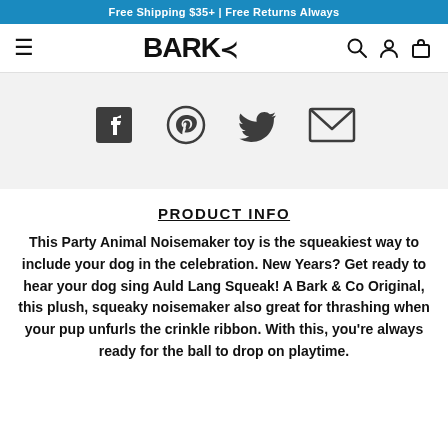Free Shipping $35+ | Free Returns Always
BARK (logo with hamburger menu, search, account, cart icons)
[Figure (infographic): Four social sharing icons on a light gray background: Facebook, Pinterest, Twitter, Email]
PRODUCT INFO
This Party Animal Noisemaker toy is the squeakiest way to include your dog in the celebration. New Years? Get ready to hear your dog sing Auld Lang Squeak! A Bark & Co Original, this plush, squeaky noisemaker also great for thrashing when your pup unfurls the crinkle ribbon. With this, you're always ready for the ball to drop on playtime.